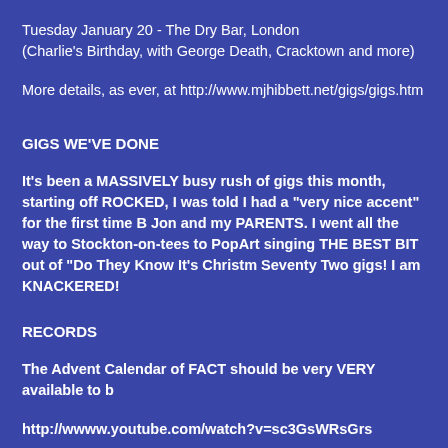Tuesday January 20 - The Dry Bar, London
(Charlie's Birthday, with George Death, Cracktown and more)
More details, as ever, at http://www.mjhibbett.net/gigs/gigs.htm
GIGS WE'VE DONE
It's been a MASSIVELY busy rush of gigs this month, starting off ROCKED, I was told I had a "very nice accent" for the first time B Jon and my PARENTS. I went all the way to Stockton-on-tees to PopArt singing THE BEST BIT out of "Do They Know It's Christm Seventy Two gigs! I am KNACKERED!
RECORDS
The Advent Calendar of FACT should be very VERY available to b
http://wwww.youtube.com/watch?v=sc3GsWRsGrs
GRUMPS and SCROOGES be warned - it is EXTREMELY Christm